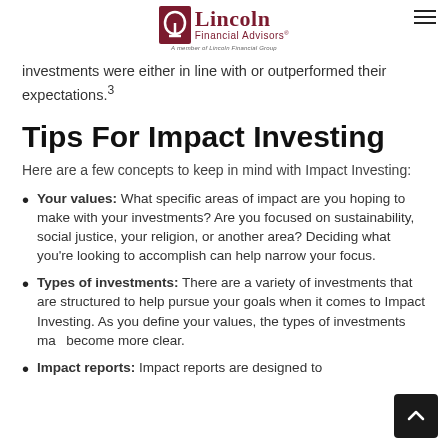Lincoln Financial Advisors — A member of Lincoln Financial Group
investments were either in line with or outperformed their expectations.³
Tips For Impact Investing
Here are a few concepts to keep in mind with Impact Investing:
Your values: What specific areas of impact are you hoping to make with your investments? Are you focused on sustainability, social justice, your religion, or another area? Deciding what you're looking to accomplish can help narrow your focus.
Types of investments: There are a variety of investments that are structured to help pursue your goals when it comes to Impact Investing. As you define your values, the types of investments may become more clear.
Impact reports: Impact reports are designed to